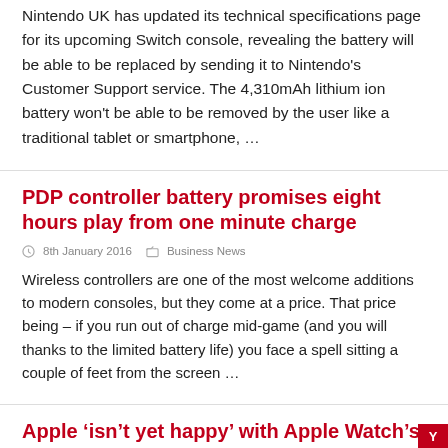Nintendo UK has updated its technical specifications page for its upcoming Switch console, revealing the battery will be able to be replaced by sending it to Nintendo's Customer Support service. The 4,310mAh lithium ion battery won't be able to be removed by the user like a traditional tablet or smartphone, …
PDP controller battery promises eight hours play from one minute charge
8th January 2016   Business News
Wireless controllers are one of the most welcome additions to modern consoles, but they come at a price. That price being – if you run out of charge mid-game (and you will thanks to the limited battery life) you face a spell sitting a couple of feet from the screen …
Apple 'isn't yet happy' with Apple Watch's battery life